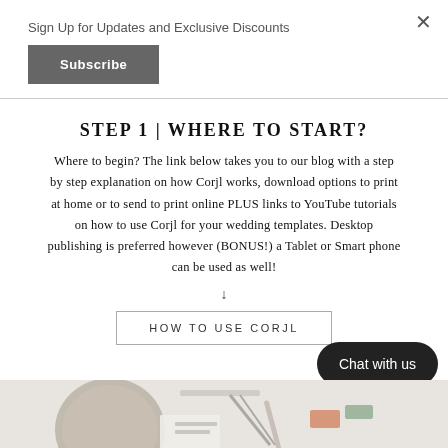Sign Up for Updates and Exclusive Discounts
Subscribe
STEP 1 | WHERE TO START?
Where to begin? The link below takes you to our blog with a step by step explanation on how Corjl works, download options to print at home or to send to print online PLUS links to YouTube tutorials on how to use Corjl for your wedding templates. Desktop publishing is preferred however (BONUS!) a Tablet or Smart phone can be used as well!
↓
HOW TO USE CORJL
[Figure (photo): Desk flatlay with circular tray, ruler, papers, scissors and stationery items]